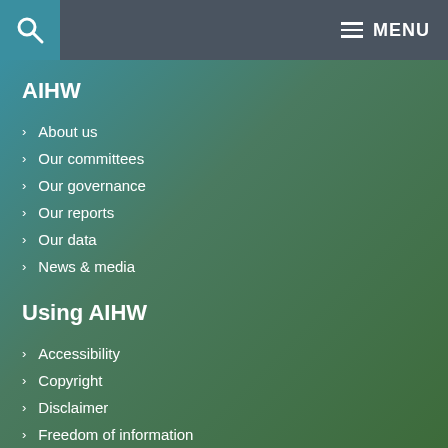MENU
AIHW
About us
Our committees
Our governance
Our reports
Our data
News & media
Using AIHW
Accessibility
Copyright
Disclaimer
Freedom of information
Indexed list of files